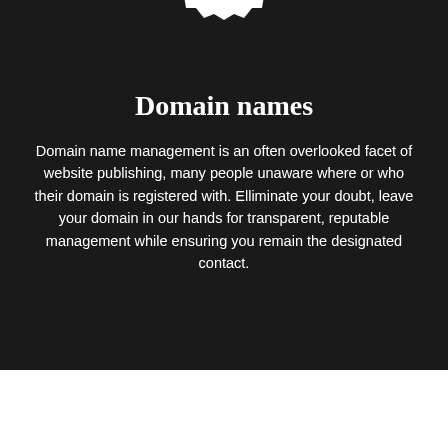[Figure (illustration): White gear/cog icon on dark background, partially cropped at top]
Domain names
Domain name management is an often overlooked facet of website publishing, many people unaware where or who their domain is registered with. Elliminate your doubt, leave your domain in our hands for transparent, reputable management while ensuring you remain the designated contact.